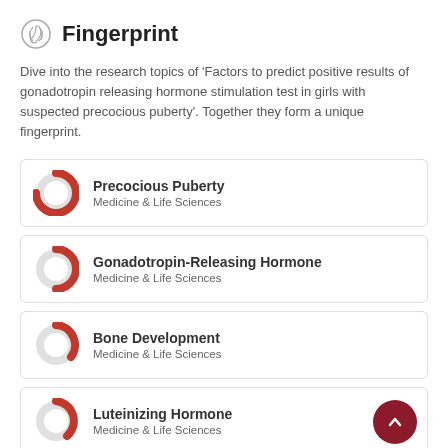Fingerprint
Dive into the research topics of 'Factors to predict positive results of gonadotropin releasing hormone stimulation test in girls with suspected precocious puberty'. Together they form a unique fingerprint.
Precocious Puberty — Medicine & Life Sciences
Gonadotropin-Releasing Hormone — Medicine & Life Sciences
Bone Development — Medicine & Life Sciences
Luteinizing Hormone — Medicine & Life Sciences